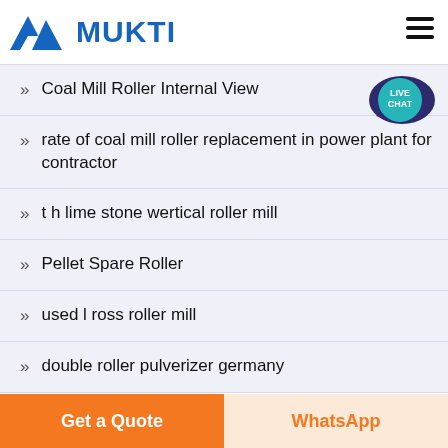[Figure (logo): Mukti company logo with blue triangular mountain icon and blue MUKTI text]
Coal Mill Roller Internal View
rate of coal mill roller replacement in power plant for contractor
t h lime stone wertical roller mill
Pellet Spare Roller
used l ross roller mill
double roller pulverizer germany
Get a Quote
WhatsApp